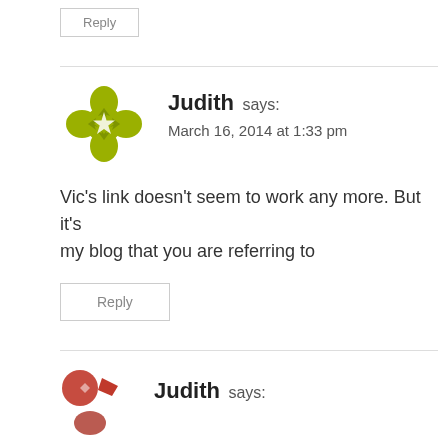Reply
Judith says:
March 16, 2014 at 1:33 pm
Vic's link doesn't seem to work any more. But it's my blog that you are referring to
Reply
Judith says: